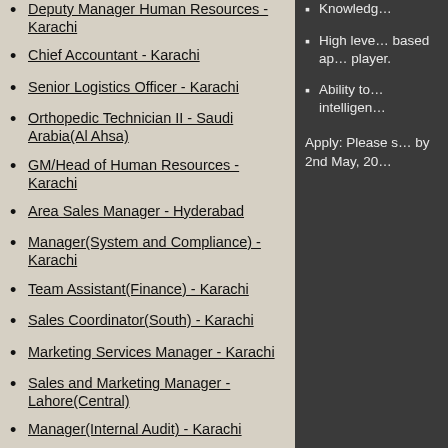Deputy Manager Human Resources - Karachi
Chief Accountant - Karachi
Senior Logistics Officer - Karachi
Orthopedic Technician II - Saudi Arabia(Al Ahsa)
GM/Head of Human Resources - Karachi
Area Sales Manager - Hyderabad
Manager(System and Compliance) - Karachi
Team Assistant(Finance) - Karachi
Sales Coordinator(South) - Karachi
Marketing Services Manager - Karachi
Sales and Marketing Manager - Lahore(Central)
Manager(Internal Audit) - Karachi
Deputy Manager/Manager Finance - Karachi
Knowledg…
High level… based ap… player.
Ability to… intelligen…
Apply: Please s… by 2nd May, 20…